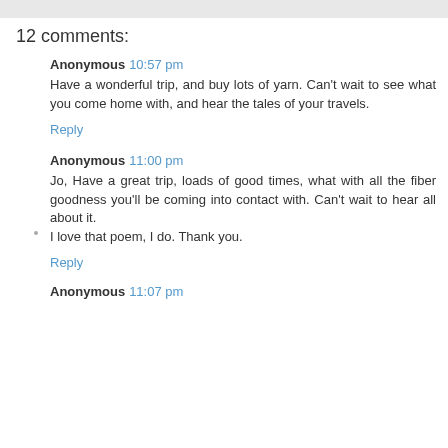12 comments:
Anonymous 10:57 pm
Have a wonderful trip, and buy lots of yarn. Can't wait to see what you come home with, and hear the tales of your travels.
Reply
Anonymous 11:00 pm
Jo, Have a great trip, loads of good times, what with all the fiber goodness you'll be coming into contact with. Can't wait to hear all about it.
I love that poem, I do. Thank you.
Reply
Anonymous 11:07 pm